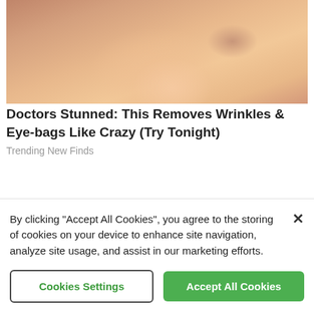[Figure (photo): Cropped photo of a woman's face, close-up, showing lips, nose and cheek area with blonde hair and an earring]
Doctors Stunned: This Removes Wrinkles & Eye-bags Like Crazy (Try Tonight)
Trending New Finds
[Figure (photo): Cropped photo of an elderly man's bald/white-haired head seen from behind and slightly above, in a colorful indoor setting]
By clicking “Accept All Cookies”, you agree to the storing of cookies on your device to enhance site navigation, analyze site usage, and assist in our marketing efforts.
Cookies Settings
Accept All Cookies